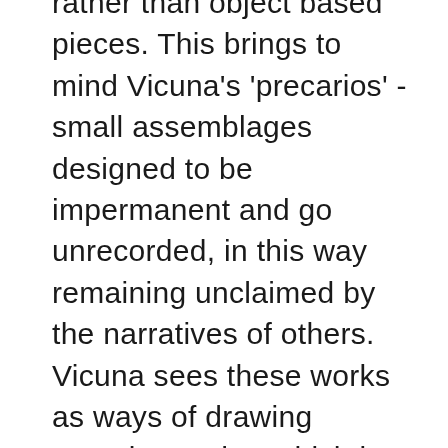rather than object based pieces. This brings to mind Vicuna's 'precarios' - small assemblages designed to be impermanent and go unrecorded, in this way remaining unclaimed by the narratives of others. Vicuna sees these works as ways of drawing attention to that which is 'disappeared'. I want to explore this way of making as a way to foreground thinking about impermanence, disappearance and impending loss.